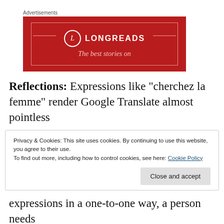[Figure (logo): Longreads advertisement banner — red background with LONGREADS logo (L in circle) and tagline 'The best stories on']
Reflections: Expressions like “cherchez la femme” render Google Translate almost pointless
Privacy & Cookies: This site uses cookies. By continuing to use this website, you agree to their use.
To find out more, including how to control cookies, see here: Cookie Policy
expressions in a one-to-one way, a person needs